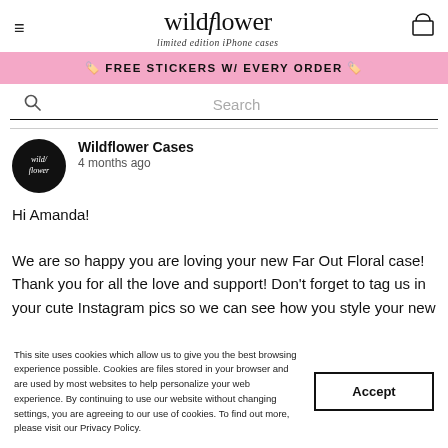wildflower — limited edition iPhone cases
🏷 FREE STICKERS W/ EVERY ORDER 🏷
Search
Wildflower Cases
4 months ago
Hi Amanda!

We are so happy you are loving your new Far Out Floral case! Thank you for all the love and support! Don't forget to tag us in your cute Instagram pics so we can see how you style your new
This site uses cookies which allow us to give you the best browsing experience possible. Cookies are files stored in your browser and are used by most websites to help personalize your web experience. By continuing to use our website without changing settings, you are agreeing to our use of cookies. To find out more, please visit our Privacy Policy.